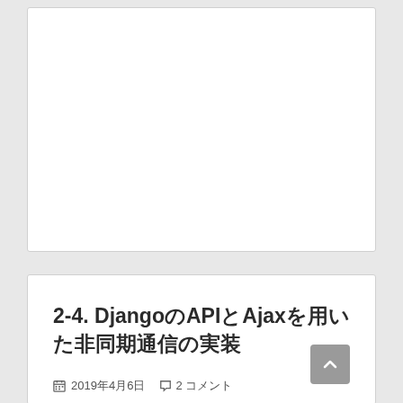[Figure (other): White card/panel area, blank content area at top of page]
2-4. DjangoのAPIとAjaxを用いた非同期通信の実装
2019年4月6日  2 コメント